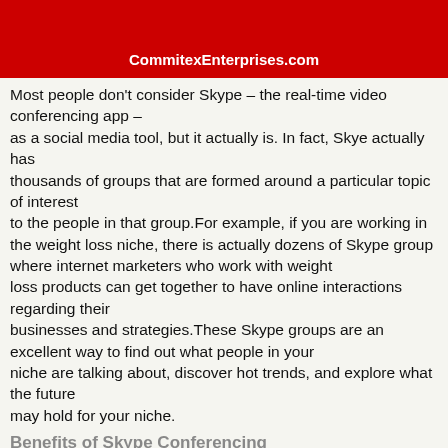CommitexEnterprises.com
Most people don't consider Skype – the real-time video conferencing app – as a social media tool, but it actually is. In fact, Skye actually has thousands of groups that are formed around a particular topic of interest to the people in that group.For example, if you are working in the weight loss niche, there is actually dozens of Skype group where internet marketers who work with weight loss products can get together to have online interactions regarding their businesses and strategies.These Skype groups are an excellent way to find out what people in your niche are talking about, discover hot trends, and explore what the future may hold for your niche.
Benefits of Skype Conferencing
Use Skype conferencing to keep your core and sure